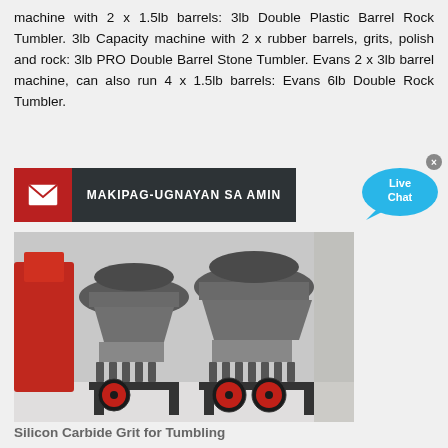machine with 2 x 1.5lb barrels: 3lb Double Plastic Barrel Rock Tumbler. 3lb Capacity machine with 2 x rubber barrels, grits, polish and rock: 3lb PRO Double Barrel Stone Tumbler. Evans 2 x 3lb barrel machine, can also run 4 x 1.5lb barrels: Evans 6lb Double Rock Tumbler.
[Figure (infographic): Contact bar with red envelope icon section and dark section reading MAKIPAG-UGNAYAN SA AMIN]
[Figure (photo): Industrial cone crusher machines in a factory setting, silver/gray machinery with red wheels on black metal frames, red equipment visible on the left]
Silicon Carbide Grit for Tumbling
1000 gram jar of Silicon Carbide Tumbling Grit packed in strong plastic jar with screw top lid. Note that some grits may be supplied as two x 500 gram jars. Select from available grits in the drop-down box above. #46 grit: coarse grit used